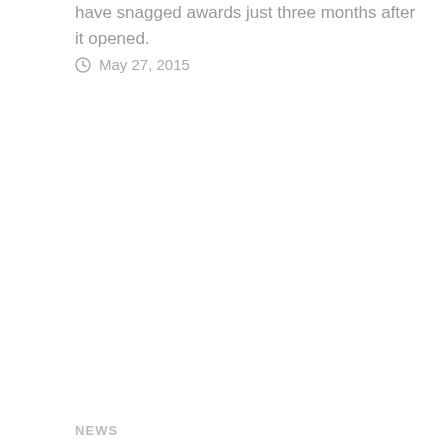have snagged awards just three months after it opened.
May 27, 2015
NEWS